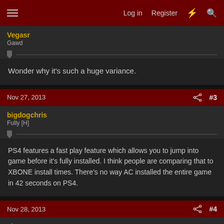Log in  Register  #  🔍
Vegasr
Gawd
Wonder why it's such a huge variance.
Nov 27, 2013   #3
bigdogchris
Fully [H]
PS4 features a fast play feature which allows you to jump into game before it's fully installed. I think people are comparing that to XBONE install times. There's no way AC installed the entire game in 42 seconds on PS4.
Nov 28, 2013   #4
elzeus